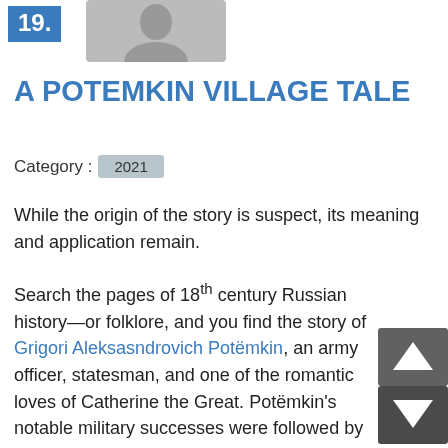19.
A POTEMKIN VILLAGE TALE
Category : 2021
While the origin of the story is suspect, its meaning and application remain.
Search the pages of 18th century Russian history—or folklore, and you find the story of Grigori Aleksasndrovich Potëmkin, an army officer, statesman, and one of the romantic loves of Catherine the Great. Potëmkin's notable military successes were followed by a gigantic failure to colonize the Ukrainian steppe. A now believed to be fabricated account all that when Catherine toured the area, Potëmkin